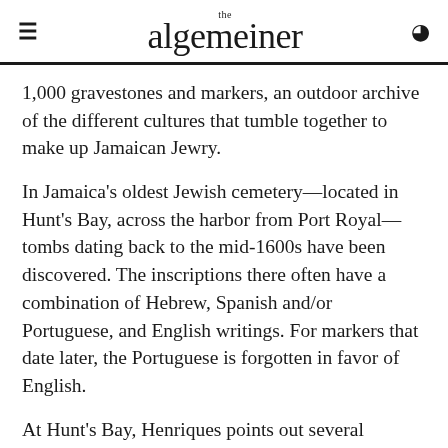the algemeiner
1,000 gravestones and markers, an outdoor archive of the different cultures that tumble together to make up Jamaican Jewry.
In Jamaica's oldest Jewish cemetery—located in Hunt's Bay, across the harbor from Port Royal—tombs dating back to the mid-1600s have been discovered. The inscriptions there often have a combination of Hebrew, Spanish and/or Portuguese, and English writings. For markers that date later, the Portuguese is forgotten in favor of English.
At Hunt's Bay, Henriques points out several tombstones with carvings of skulls and